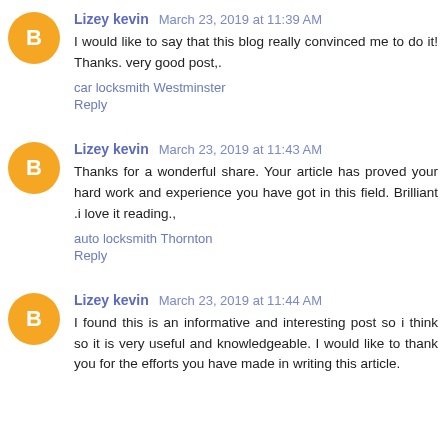Lizey kevin March 23, 2019 at 11:39 AM
I would like to say that this blog really convinced me to do it! Thanks. very good post,.
car locksmith Westminster
Reply
Lizey kevin March 23, 2019 at 11:43 AM
Thanks for a wonderful share. Your article has proved your hard work and experience you have got in this field. Brilliant .i love it reading.,
auto locksmith Thornton
Reply
Lizey kevin March 23, 2019 at 11:44 AM
I found this is an informative and interesting post so i think so it is very useful and knowledgeable. I would like to thank you for the efforts you have made in writing this article.